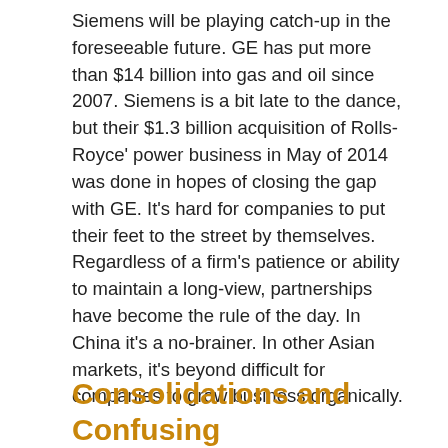Siemens will be playing catch-up in the foreseeable future. GE has put more than $14 billion into gas and oil since 2007. Siemens is a bit late to the dance, but their $1.3 billion acquisition of Rolls-Royce' power business in May of 2014 was done in hopes of closing the gap with GE. It's hard for companies to put their feet to the street by themselves. Regardless of a firm's patience or ability to maintain a long-view, partnerships have become the rule of the day. In China it's a no-brainer. In other Asian markets, it's beyond difficult for companies to grow business organically.
Consolidations and Confusing